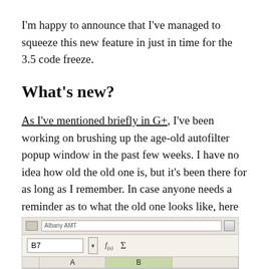I'm happy to announce that I've managed to squeeze this new feature in just in time for the 3.5 code freeze.
What's new?
As I've mentioned briefly in G+, I've been working on brushing up the age-old autofilter popup window in the past few weeks. I have no idea how old the old one is, but it's been there for as long as I remember. In case anyone needs a reminder as to what the old one looks like, here it is.
[Figure (screenshot): Screenshot of a spreadsheet application showing a formula bar with cell reference B7 and function/sum buttons, and a grid with column headers A and B highlighted in green.]